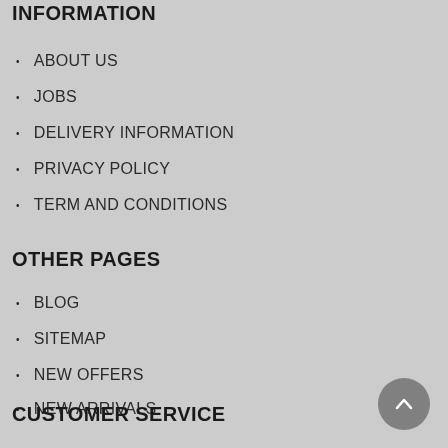INFORMATION
ABOUT US
JOBS
DELIVERY INFORMATION
PRIVACY POLICY
TERM AND CONDITIONS
OTHER PAGES
BLOG
SITEMAP
NEW OFFERS
NEW ARRIVALS
CLEARANCE
CUSTOMER SERVICE